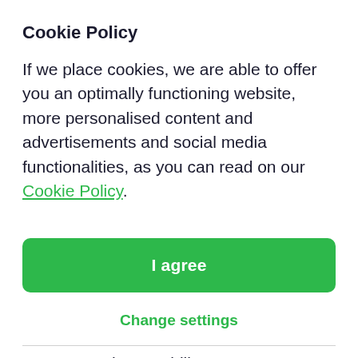Cookie Policy
If we place cookies, we are able to offer you an optimally functioning website, more personalised content and advertisements and social media functionalities, as you can read on our Cookie Policy.
I agree
Change settings
on our merchant’s ability to accept payments and expand their business with us.